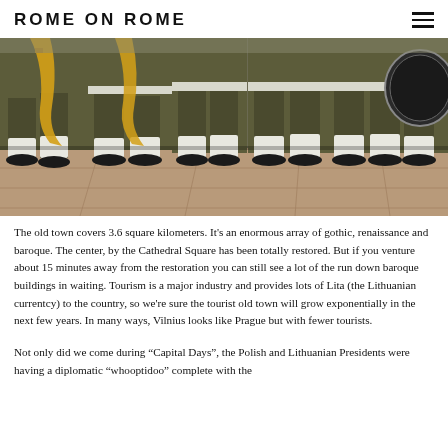ROME ON ROME
[Figure (photo): Close-up photograph of military band members from the waist down, wearing olive/khaki uniforms with white belts and white gaiters over black shoes. Some carry saxophones and drums. Taken outdoors on a stone plaza.]
The old town covers 3.6 square kilometers. It's an enormous array of gothic, renaissance and baroque. The center, by the Cathedral Square has been totally restored. But if you venture about 15 minutes away from the restoration you can still see a lot of the run down baroque buildings in waiting. Tourism is a major industry and provides lots of Lita (the Lithuanian currentcy) to the country, so we're sure the tourist old town will grow exponentially in the next few years. In many ways, Vilnius looks like Prague but with fewer tourists.
Not only did we come during "Capital Days", the Polish and Lithuanian Presidents were having a diplomatic "whooptidoo" complete with the